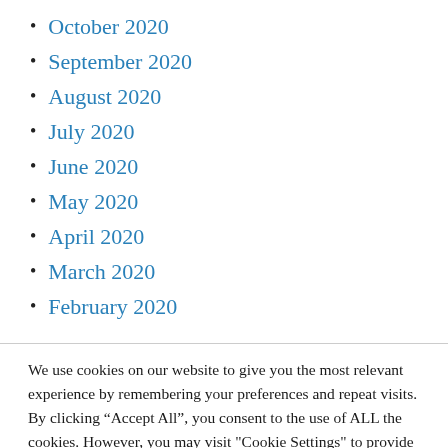October 2020
September 2020
August 2020
July 2020
June 2020
May 2020
April 2020
March 2020
February 2020
We use cookies on our website to give you the most relevant experience by remembering your preferences and repeat visits. By clicking “Accept All”, you consent to the use of ALL the cookies. However, you may visit "Cookie Settings" to provide a controlled consent.
Cookie Settings | Accept All